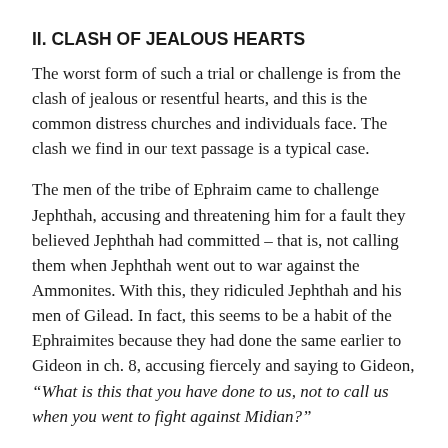II. CLASH OF JEALOUS HEARTS
The worst form of such a trial or challenge is from the clash of jealous or resentful hearts, and this is the common distress churches and individuals face. The clash we find in our text passage is a typical case.
The men of the tribe of Ephraim came to challenge Jephthah, accusing and threatening him for a fault they believed Jephthah had committed – that is, not calling them when Jephthah went out to war against the Ammonites. With this, they ridiculed Jephthah and his men of Gilead. In fact, this seems to be a habit of the Ephraimites because they had done the same earlier to Gideon in ch. 8, accusing fiercely and saying to Gideon, “What is this that you have done to us, not to call us when you went to fight against Midian?”
The Ephraimites were jealous people, being one of